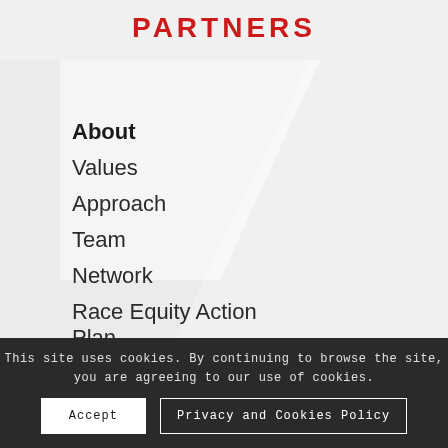PARTNERS
About
Values
Approach
Team
Network
Race Equity Action Plan
Certifications
Expertise
Issue Areas
Capabilities
This site uses cookies. By continuing to browse the site, you are agreeing to our use of cookies.
Accept
Privacy and Cookies Policy